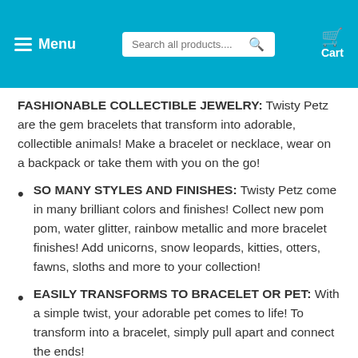Menu | Search all products... [search icon] | Cart
FASHIONABLE COLLECTIBLE JEWELRY: Twisty Petz are the gem bracelets that transform into adorable, collectible animals! Make a bracelet or necklace, wear on a backpack or take them with you on the go!
SO MANY STYLES AND FINISHES: Twisty Petz come in many brilliant colors and finishes! Collect new pom pom, water glitter, rainbow metallic and more bracelet finishes! Add unicorns, snow leopards, kitties, otters, fawns, sloths and more to your collection!
EASILY TRANSFORMS TO BRACELET OR PET: With a simple twist, your adorable pet comes to life! To transform into a bracelet, simply pull apart and connect the ends!
Twisty Petz are cute collectible bracelets for kids aged 4 and up. With over 70 to collect in Series 3, you can